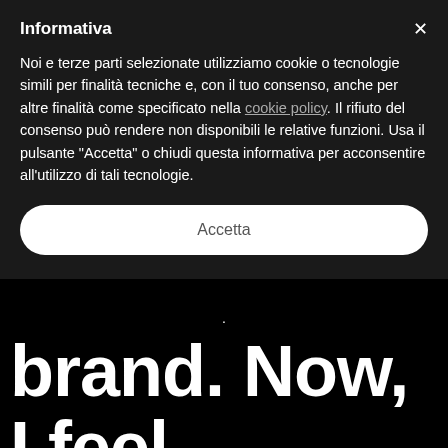Informativa
Noi e terze parti selezionate utilizziamo cookie o tecnologie simili per finalità tecniche e, con il tuo consenso, anche per altre finalità come specificato nella cookie policy. Il rifiuto del consenso può rendere non disponibili le relative funzioni. Usa il pulsante “Accetta” o chiudi questa informativa per acconsentire all’utilizzo di tali tecnologie.
Accetta
.
brand. Now, I feel
like “vague,”